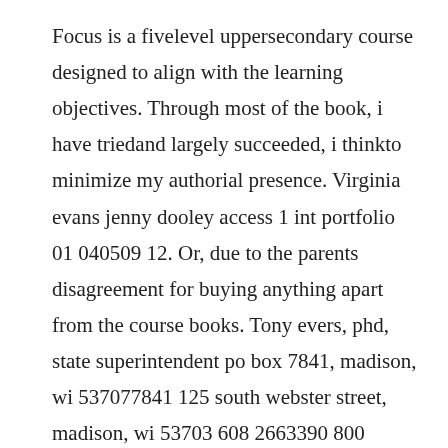Focus is a fivelevel uppersecondary course designed to align with the learning objectives. Through most of the book, i have triedand largely succeeded, i thinkto minimize my authorial presence. Virginia evans jenny dooley access 1 int portfolio 01 040509 12. Or, due to the parents disagreement for buying anything apart from the course books. Tony evers, phd, state superintendent po box 7841, madison, wi 537077841 125 south webster street, madison, wi 53703 608 2663390 800 4414563 toll free 608 2671052 fax 608